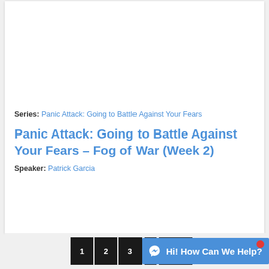[Figure (illustration): Dark banner with 'PANIC ATTACK' in large white letters and subtitle 'GOING INTO BATTLE AGAINST YOUR FEAR', with a spiky metallic orb/virus shape in the center against a dark space background with small stars.]
Series: Panic Attack: Going to Battle Against Your Fears
Panic Attack: Going to Battle Against Your Fears – Fog of War (Week 2)
Speaker: Patrick Garcia
[Figure (screenshot): Pagination buttons showing 1, 2, 3 and additional dark buttons, with a blue chat widget saying 'Hi! How Can We Help?' with a messenger icon and a red notification dot.]